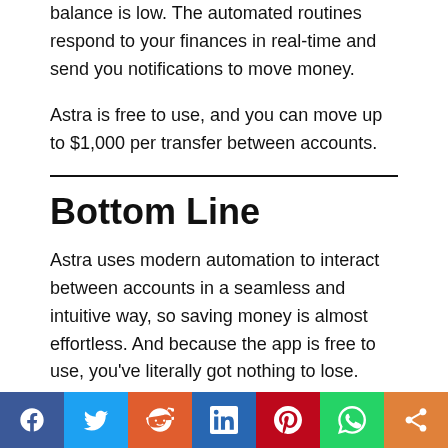balance is low. The automated routines respond to your finances in real-time and send you notifications to move money.
Astra is free to use, and you can move up to $1,000 per transfer between accounts.
Bottom Line
Astra uses modern automation to interact between accounts in a seamless and intuitive way, so saving money is almost effortless. And because the app is free to use, you've literally got nothing to lose.
Astra app (iOS)
Astra app (Android)